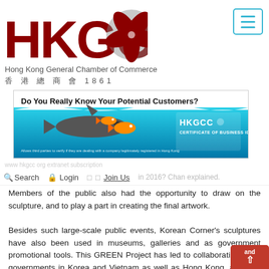[Figure (logo): HKGCC logo - red bold letters HKGCC with a stylized grey bauhinia flower, and grey circle behind flower]
Hong Kong General Chamber of Commerce
香 港 總 商 會 1861
[Figure (photo): Advertisement banner: 'Do You Really Know Your Potential Customers?' with HKGCC Certificate of Business Identity branding, showing fish/shark underwater scene]
Search  Login  Join Us  in 2016? Chan explained.
Members of the public also had the opportunity to draw on the sculpture, and to play a part in creating the final artwork.
Besides such large-scale public events, Korean Corner's sculptures have also been used in museums, galleries and as government promotional tools. This GREEN Project has led to collaborations with governments in Korea and Vietnam as well as Hong Kong, and with international companies including agnes b. and Sotheby's.